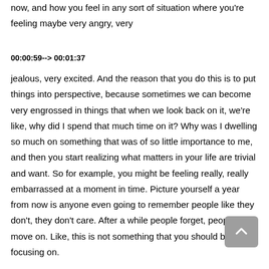now, and how you feel in any sort of situation where you're feeling maybe very angry, very
00:00:59--> 00:01:37
jealous, very excited. And the reason that you do this is to put things into perspective, because sometimes we can become very engrossed in things that when we look back on it, we're like, why did I spend that much time on it? Why was I dwelling so much on something that was of so little importance to me, and then you start realizing what matters in your life are trivial and want. So for example, you might be feeling really, really embarrassed at a moment in time. Picture yourself a year from now is anyone even going to remember people like they don't, they don't care. After a while people forget, people move on. Like, this is not something that you should be focusing on.